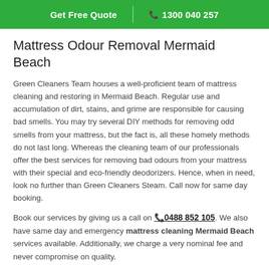Get Free Quote | 1300 040 257
Mattress Odour Removal Mermaid Beach
Green Cleaners Team houses a well-proficient team of mattress cleaning and restoring in Mermaid Beach. Regular use and accumulation of dirt, stains, and grime are responsible for causing bad smells. You may try several DIY methods for removing odd smells from your mattress, but the fact is, all these homely methods do not last long. Whereas the cleaning team of our professionals offer the best services for removing bad odours from your mattress with their special and eco-friendly deodorizers. Hence, when in need, look no further than Green Cleaners Steam. Call now for same day booking.
Book our services by giving us a call on 0488 852 105. We also have same day and emergency mattress cleaning Mermaid Beach services available. Additionally, we charge a very nominal fee and never compromise on quality.